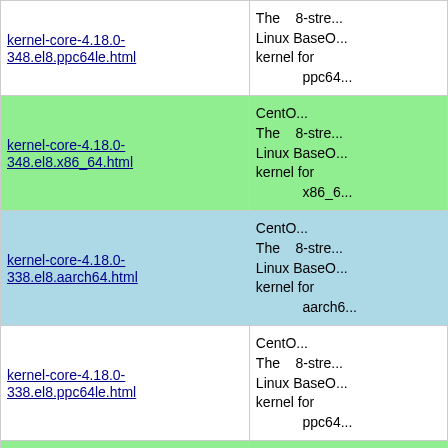| Link | Description |
| --- | --- |
| kernel-core-4.18.0-348.el8.ppc64le.html | The 8-stream Linux BaseOS kernel for ppc64le |
| kernel-core-4.18.0-348.el8.x86_64.html | CentOS 8-stream BaseOS for x86_64 |
| kernel-core-4.18.0-338.el8.aarch64.html | CentOS 8-stream BaseOS for aarch64 |
| kernel-core-4.18.0-338.el8.ppc64le.html | CentOS 8-stream BaseOS for ppc64le |
| kernel-core-4.18.0-338.el8.x86_64.html | CentOS 8-stream BaseOS for x86_64 |